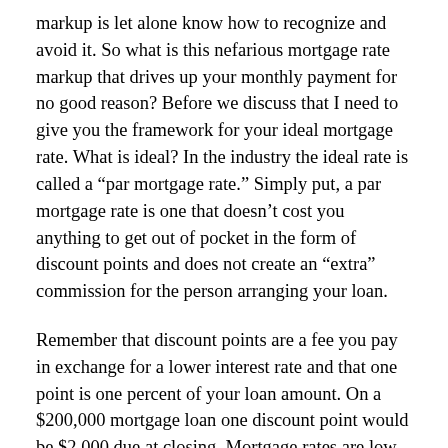markup is let alone know how to recognize and avoid it. So what is this nefarious mortgage rate markup that drives up your monthly payment for no good reason? Before we discuss that I need to give you the framework for your ideal mortgage rate. What is ideal? In the industry the ideal rate is called a “par mortgage rate.” Simply put, a par mortgage rate is one that doesn’t cost you anything to get out of pocket in the form of discount points and does not create an “extra” commission for the person arranging your loan.
Remember that discount points are a fee you pay in exchange for a lower interest rate and that one point is one percent of your loan amount. On a $200,000 mortgage loan one discount point would be $2,000 due at closing. Mortgage rates are low enough that you’ll want to avoid paying discount points whenever possible. Get yourself a par mortgage rate and you won’t have to pay any discount points at all. The other type of points you’ll encounter are origination points. This is the